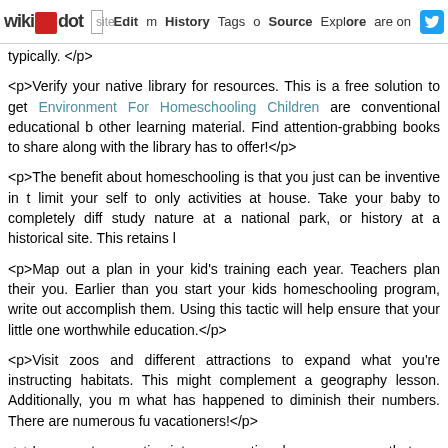wikidot | site | Edit | History | Tags | Source | Explore | Share on [Twitter]
typically. </p>
<p>Verify your native library for resources. This is a free solution to get Environment For Homeschooling Children are conventional educational b other learning material. Find attention-grabbing books to share along with the library has to offer!</p>
<p>The benefit about homeschooling is that you just can be inventive in t limit your self to only activities at house. Take your baby to completely diff study nature at a national park, or history at a historical site. This retains l
<p>Map out a plan in your kid's training each year. Teachers plan their you. Earlier than you start your kids homeschooling program, write out accomplish them. Using this tactic will help ensure that your little one worthwhile education.</p>
<p>Visit zoos and different attractions to expand what you're instructing habitats. This might complement a geography lesson. Additionally, you m what has happened to diminish their numbers. There are numerous fu vacationers!</p>
<p>Incorporate expertise into your routine, however ensure that you en means know when your internet could go down or your wireless router hand in case of an Internet outage.</p>
<p>Benefit from the topics that your children get pleasure from. If you need to have the ability to take something from that subject and apply it to are enjoying what you're doing with them whereas teaching them, it w involved.</p>